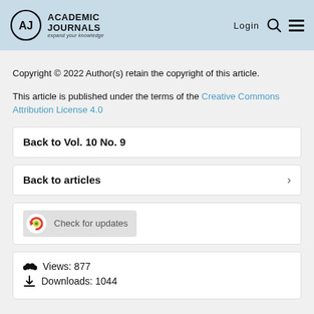Academic Journals — expand your knowledge | Login
Copyright © 2022 Author(s) retain the copyright of this article.
This article is published under the terms of the Creative Commons Attribution License 4.0
Back to Vol. 10 No. 9
Back to articles
[Figure (other): Check for updates button with colorful icon]
Views: 877
Downloads: 1044